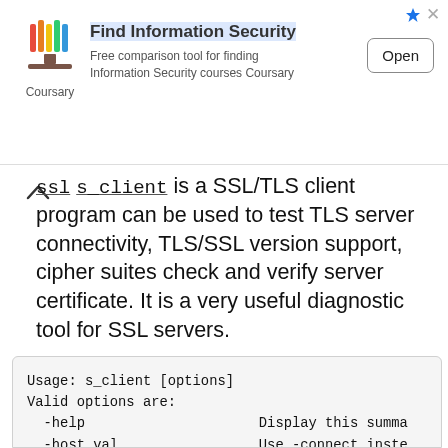[Figure (other): Advertisement banner for Coursary: 'Find Information Security — Free comparison tool for finding Information Security courses Coursary' with an Open button]
ssl s_client is a SSL/TLS client program can be used to test TLS server connectivity, TLS/SSL version support, cipher suites check and verify server certificate. It is a very useful diagnostic tool for SSL servers.
Usage: s_client [options]
Valid options are:
  -help                    Display this summa
  -host val                Use -connect inste
  -port +int               Use -connect inste
  -connect val             TCP/IP where to cc
  -bind val                bind local address
  -proxy val               Connect to via spe
  -unix val                Connect over the s
  -4                       Use TPv4 only